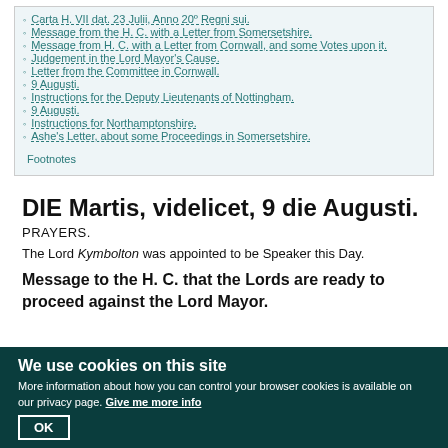Carta H. VII dat. 23 Julii, Anno 20º Regni sui.
Message from the H. C. with a Letter from Somersetshire.
Message from H. C. with a Letter from Cornwall, and some Votes upon it.
Judgement in the Lord Mayor's Cause.
Letter from the Committee in Cornwall.
9 Augusti.
Instructions for the Deputy Lieutenants of Nottingham.
9 Augusti.
Instructions for Northamptonshire.
Ashe's Letter, about some Proceedings in Somersetshire.
Footnotes
DIE Martis, videlicet, 9 die Augusti.
PRAYERS.
The Lord Kymbolton was appointed to be Speaker this Day.
Message to the H. C. that the Lords are ready to proceed against the Lord Mayor.
We use cookies on this site
More information about how you can control your browser cookies is available on our privacy page. Give me more info
OK